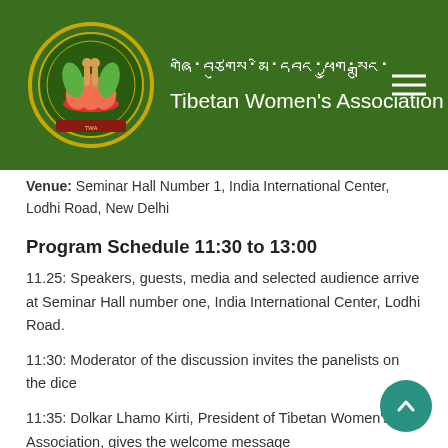Tibetan Women's Association
Venue: Seminar Hall Number 1, India International Center, Lodhi Road, New Delhi
Program Schedule 11:30 to 13:00
11.25: Speakers, guests, media and selected audience arrive at Seminar Hall number one, India International Center, Lodhi Road.
11:30: Moderator of the discussion invites the panelists on the dice
11:35: Dolkar Lhamo Kirti, President of Tibetan Women's Association, gives the welcome message
11:40: Panelists will speak for 10 minute each